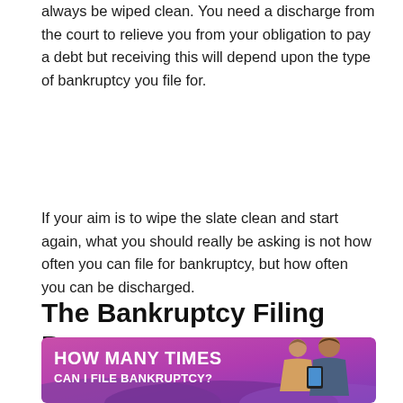always be wiped clean. You need a discharge from the court to relieve you from your obligation to pay a debt but receiving this will depend upon the type of bankruptcy you file for.
If your aim is to wipe the slate clean and start again, what you should really be asking is not how often you can file for bankruptcy, but how often you can be discharged.
The Bankruptcy Filing Process
[Figure (infographic): Pink/purple gradient banner infographic showing two people looking at a phone with text 'HOW MANY TIMES CAN I FILE BANKRUPTCY?' in white bold letters on the left side.]